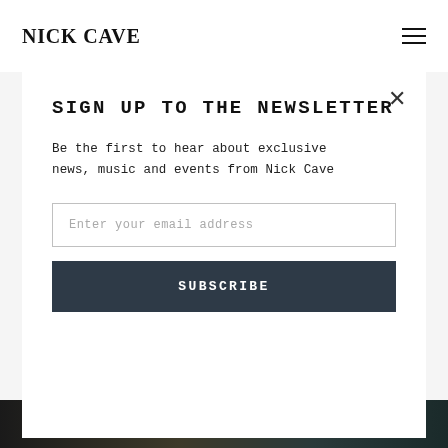NICK CAVE
TENDER PREY
The Mercy Seat
Up Jumped The Devil
Deanna
Watching Alice
SIGN UP TO THE NEWSLETTER
Be the first to hear about exclusive news, music and events from Nick Cave
Enter your email address
SUBSCRIBE